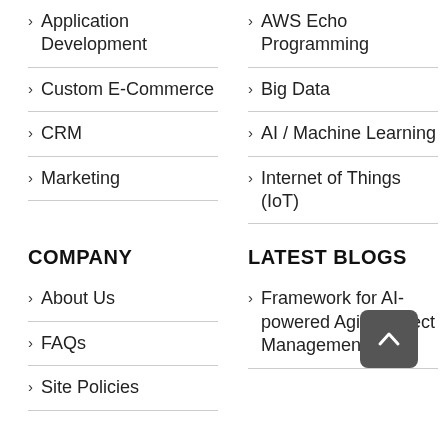Application Development
AWS Echo Programming
Custom E-Commerce
Big Data
CRM
AI / Machine Learning
Marketing
Internet of Things (IoT)
COMPANY
LATEST BLOGS
About Us
Framework for AI-powered Agile Project Management
FAQs
Site Policies